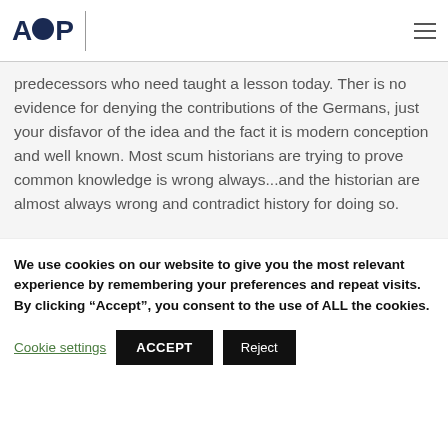AOP
predecessors who need taught a lesson today. Ther is no evidence for denying the contributions of the Germans, just your disfavor of the idea and the fact it is modern conception and well known. Most scum historians are trying to prove common knowledge is wrong always...and the historian are almost always wrong and contradict history for doing so.
We use cookies on our website to give you the most relevant experience by remembering your preferences and repeat visits. By clicking “Accept”, you consent to the use of ALL the cookies.
Cookie settings | ACCEPT | Reject